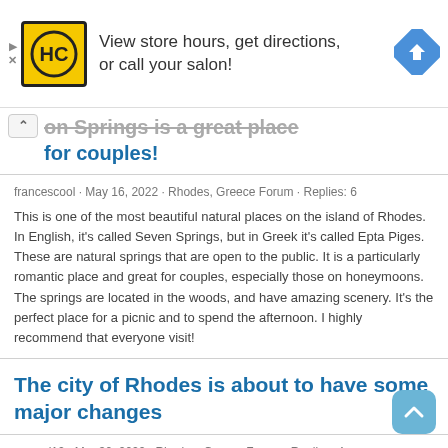[Figure (infographic): Advertisement banner: HC logo (yellow/black), text 'View store hours, get directions, or call your salon!', blue navigation arrow icon on right. Small play and X controls on left edge.]
...on Springs is a great place for couples!
francescool · May 16, 2022 · Rhodes, Greece Forum · Replies: 6
This is one of the most beautiful natural places on the island of Rhodes. In English, it's called Seven Springs, but in Greek it's called Epta Piges. These are natural springs that are open to the public. It is a particularly romantic place and great for couples, especially those on honeymoons. The springs are located in the woods, and have amazing scenery. It's the perfect place for a picnic and to spend the afternoon. I highly recommend that everyone visit!
The city of Rhodes is about to have some major changes
greggd12 · Mar 30, 2022 · Rhodes, Greece Forum · Replies: 4